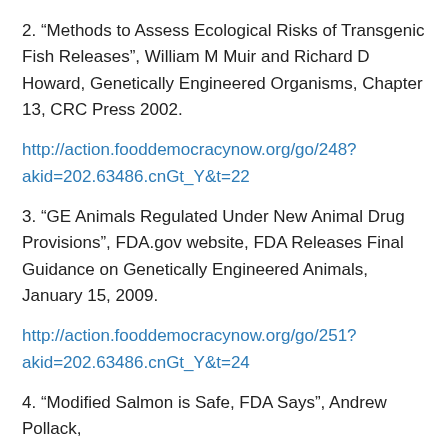2. “Methods to Assess Ecological Risks of Transgenic Fish Releases”, William M Muir and Richard D Howard, Genetically Engineered Organisms, Chapter 13, CRC Press 2002.
http://action.fooddemocracynow.org/go/248?akid=202.63486.cnGt_Y&t=22
3. “GE Animals Regulated Under New Animal Drug Provisions”, FDA.gov website, FDA Releases Final Guidance on Genetically Engineered Animals, January 15, 2009.
http://action.fooddemocracynow.org/go/251?akid=202.63486.cnGt_Y&t=24
4. “Modified Salmon is Safe, FDA Says”, Andrew Pollack, The New York Times, September 3, 2010.